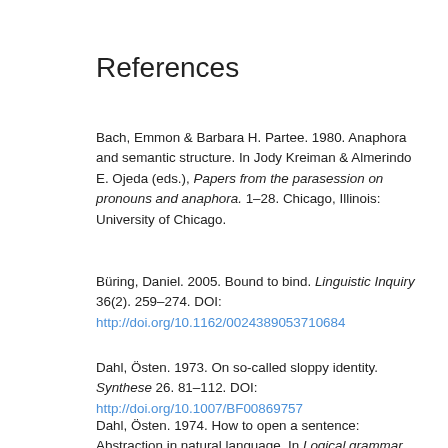References
Bach, Emmon & Barbara H. Partee. 1980. Anaphora and semantic structure. In Jody Kreiman & Almerindo E. Ojeda (eds.), Papers from the parasession on pronouns and anaphora. 1–28. Chicago, Illinois: University of Chicago.
Büring, Daniel. 2005. Bound to bind. Linguistic Inquiry 36(2). 259–274. DOI: http://doi.org/10.1162/0024389053710684
Dahl, Östen. 1973. On so-called sloppy identity. Synthese 26. 81–112. DOI: http://doi.org/10.1007/BF00869757
Dahl, Östen. 1974. How to open a sentence: Abstraction in natural language. In Logical grammar reports, vol. 12. University of Götenburg.
Fiengo, Robert & Robert May. 1994. Indices and identity